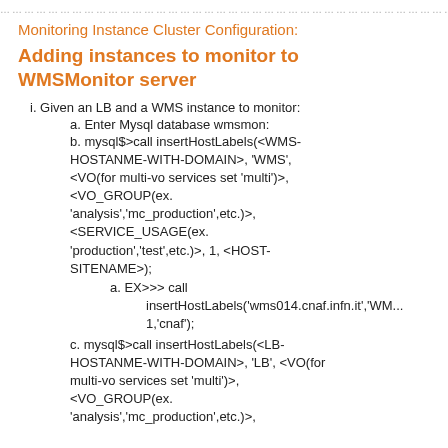………………………………………………………………………………
Monitoring Instance Cluster Configuration:
Adding instances to monitor to WMSMonitor server
i. Given an LB and a WMS instance to monitor:
a. Enter Mysql database wmsmon:
b. mysql$>call insertHostLabels(<WMS-HOSTANME-WITH-DOMAIN>, 'WMS', <VO(for multi-vo services set 'multi')>, <VO_GROUP(ex. 'analysis','mc_production',etc.)>, <SERVICE_USAGE(ex. 'production','test',etc.)>, 1, <HOST-SITENAME>);
a. EX>>> call insertHostLabels('wms014.cnaf.infn.it','WM... 1,'cnaf');
c. mysql$>call insertHostLabels(<LB-HOSTANME-WITH-DOMAIN>, 'LB', <VO(for multi-vo services set 'multi')>, <VO_GROUP(ex. 'analysis','mc_production',etc.)>,